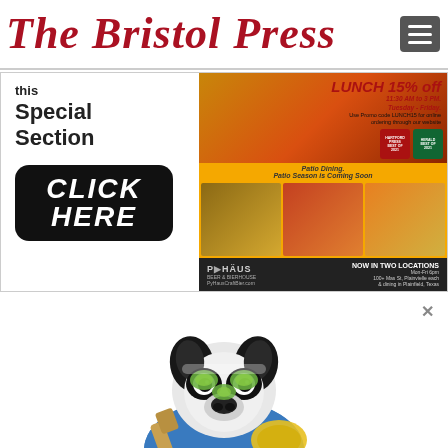The Bristol Press
[Figure (photo): Advertisement banner for a restaurant offering LUNCH 15% off, 11:30 AM to 3 PM, Tuesday-Friday, with a CLICK HERE button on the left and food photos on the right, featuring the HäUS Craft Bierhaus branding]
[Figure (photo): Photo of a French Bulldog dressed in a blue spa robe with cucumber slices on its face, holding a wooden brush and a yellow loofah sponge, styled as a spa day photo]